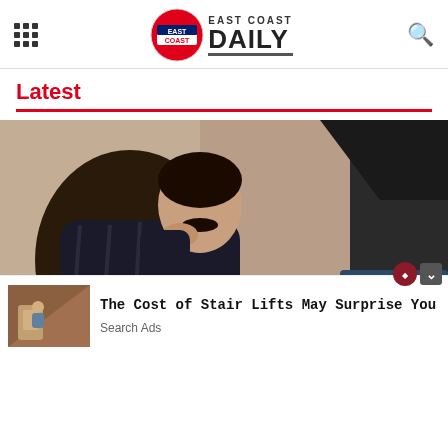East Coast Daily
Latest
[Figure (photo): Man in dark jacket sitting reclined in a leather office chair, resting his chin on his hand, in an office setting]
The Cost of Stair Lifts May Surprise You
Search Ads